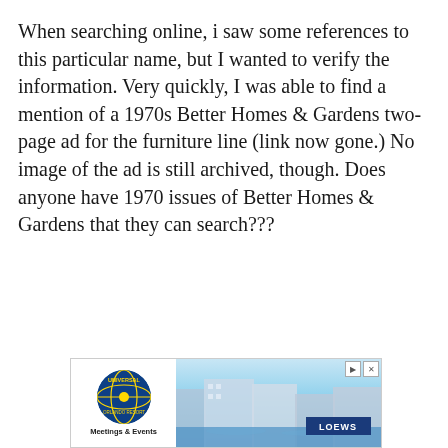When searching online, i saw some references to this particular name, but I wanted to verify the information. Very quickly, I was able to find a mention of a 1970s Better Homes & Gardens two-page ad for the furniture line (link now gone.) No image of the ad is still archived, though. Does anyone have 1970 issues of Better Homes & Gardens that they can search???
[Figure (other): Advertisement banner for Universal Orlando Resort - Meetings & Events, featuring the Universal globe logo on the left and a photo of the Loews hotel with waterfront on the right.]